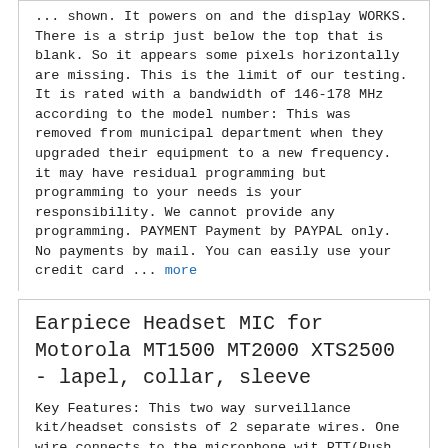... shown. It powers on and the display WORKS. There is a strip just below the top that is blank. So it appears some pixels horizontally are missing. This is the limit of our testing. It is rated with a bandwidth of 146-178 MHz according to the model number: This was removed from municipal department when they upgraded their equipment to a new frequency. it may have residual programming but programming to your needs is your responsibility. We cannot provide any programming. PAYMENT Payment by PAYPAL only. No payments by mail. You can easily use your credit card ... more
Earpiece Headset MIC for Motorola MT1500 MT2000 XTS2500 - lapel, collar, sleeve
Key Features: This two way surveillance kit/headset consists of 2 separate wires. One wire connects to the microphone wit PTT(Push To Talk) button. It provides the option of placing the microphone on your lapel or at the end of jacket sleeve. Acoustic ear tube with coiled cord design. Includes two stud earpieces and one fitted ear mold for right side(size sm-med) Kevlar reinforced cable with high quality speaker and microphone provides clear audio communication. Professional Users Include: Body Guards-Police Officers-Firemen-Military Personnel-FBI. CIA, Secret Agents Compatible Models: Motorola Handheld Transceiver/ Portable Two-Way Radio GP900. GP1200, GP9000 JT1000 HT1000 MT1500. MT2000, MT2100, MT6000 MTS2000 MTX838. MTX1000, MTX8000, MTX9000, MTX-LS PR1500 XTS1500. XTS2000, XTS2500, XTS3000, XTS3500, XTS5000 Speaker Size: 16mm Sound Pressure ... more
VISTA MT...